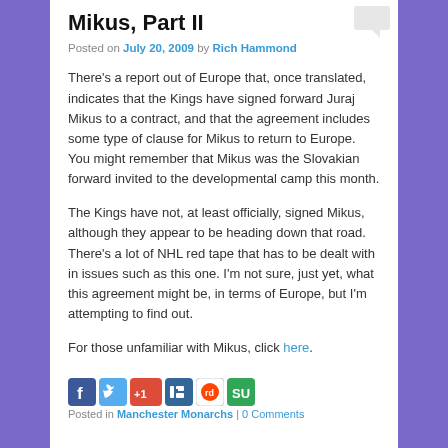Mikus, Part II
Posted on July 20, 2009 by Rich Hammond
There's a report out of Europe that, once translated, indicates that the Kings have signed forward Juraj Mikus to a contract, and that the agreement includes some type of clause for Mikus to return to Europe. You might remember that Mikus was the Slovakian forward invited to the developmental camp this month.
The Kings have not, at least officially, signed Mikus, although they appear to be heading down that road. There's a lot of NHL red tape that has to be dealt with in issues such as this one. I'm not sure, just yet, what this agreement might be, in terms of Europe, but I'm attempting to find out.
For those unfamiliar with Mikus, click here.
[Figure (other): Social sharing icons: Facebook, Twitter, Google+1, Digg, Reddit, StumbleUpon]
Posted in Manchester Monarchs | 0 Comments